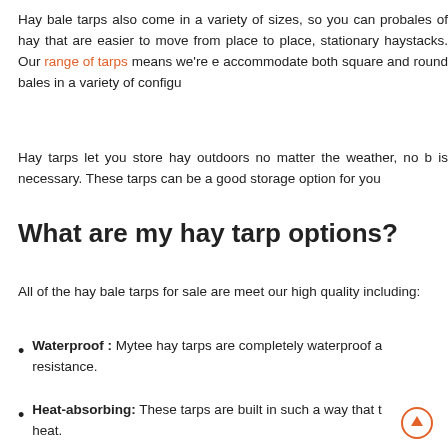Hay bale tarps also come in a variety of sizes, so you can protect bales of hay that are easier to move from place to place, stationary haystacks. Our range of tarps means we're e accommodate both square and round bales in a variety of configu
Hay tarps let you store hay outdoors no matter the weather, no b is necessary. These tarps can be a good storage option for you
What are my hay tarp options?
All of the hay bale tarps for sale are meet our high quality including:
Waterproof : Mytee hay tarps are completely waterproof a resistance.
Heat-absorbing: These tarps are built in such a way that t heat.